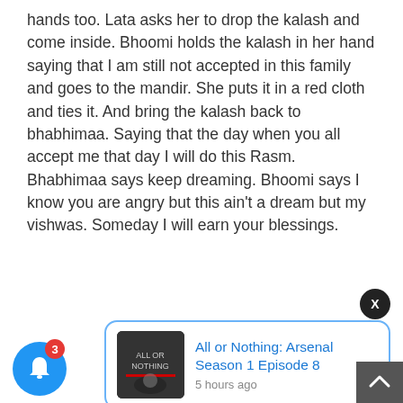hands too. Lata asks her to drop the kalash and come inside. Bhoomi holds the kalash in her hand saying that I am still not accepted in this family and goes to the mandir. She puts it in a red cloth and ties it. And bring the kalash back to bhabhimaa. Saying that the day when you all accept me that day I will do this Rasm.
Bhabhimaa says keep dreaming. Bhoomi says I know you are angry but this ain't a dream but my vishwas. Someday I will earn your blessings.
[Figure (screenshot): Notification popup showing 'All or Nothing: Arsenal Season 1 Episode 8' with thumbnail, posted 5 hours ago, with a close X button, a blue bell notification icon with badge showing 3, and a dark scroll-up arrow button.]